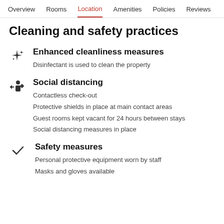Overview  Rooms  Location  Amenities  Policies  Reviews
Cleaning and safety practices
Enhanced cleanliness measures
Disinfectant is used to clean the property
Social distancing
Contactless check-out
Protective shields in place at main contact areas
Guest rooms kept vacant for 24 hours between stays
Social distancing measures in place
Safety measures
Personal protective equipment worn by staff
Masks and gloves available